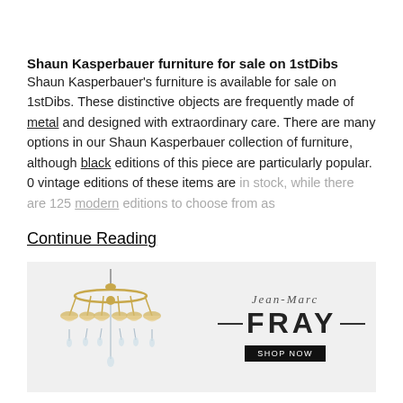Shaun Kasperbauer furniture for sale on 1stDibs
Shaun Kasperbauer's furniture is available for sale on 1stDibs. These distinctive objects are frequently made of metal and designed with extraordinary care. There are many options in our Shaun Kasperbauer collection of furniture, although black editions of this piece are particularly popular. 0 vintage editions of these items are in stock, while there are 125 modern editions to choose from as
Continue Reading
[Figure (photo): Advertisement showing an ornate gold chandelier on the left and the Jean-Marc Fray logo with a 'Shop Now' button on the right, on a light grey background.]